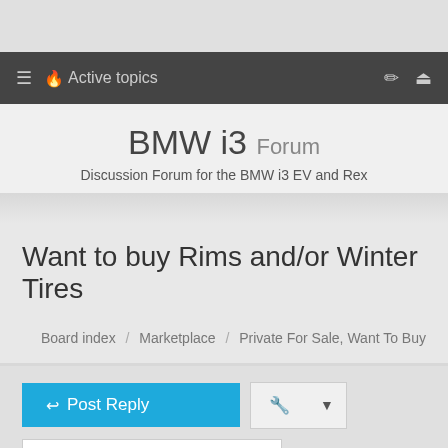Active topics
BMW i3 Forum
Discussion Forum for the BMW i3 EV and Rex
Want to buy Rims and/or Winter Tires
Board index / Marketplace / Private For Sale, Want To Buy
Post Reply
Search this topic...